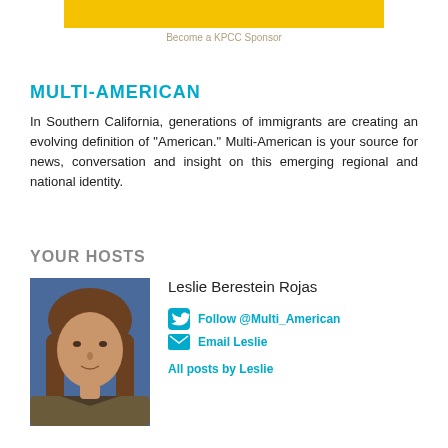[Figure (other): Yellow banner sponsor bar at top of page]
Become a KPCC Sponsor
MULTI-AMERICAN
In Southern California, generations of immigrants are creating an evolving definition of "American." Multi-American is your source for news, conversation and insight on this emerging regional and national identity.
YOUR HOSTS
[Figure (photo): Headshot photo of Leslie Berestein Rojas, a woman with long brown hair against a blue background]
Leslie Berestein Rojas
Follow @Multi_American
Email Leslie
All posts by Leslie